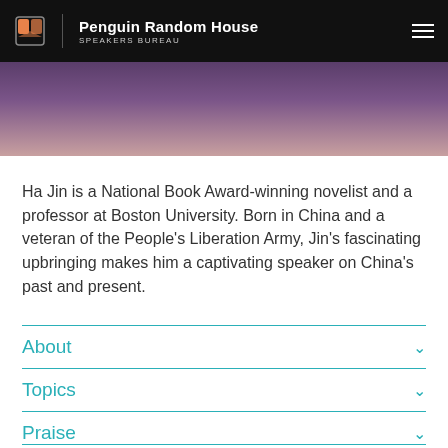Penguin Random House SPEAKERS BUREAU
[Figure (photo): Partial photo of Ha Jin, showing lower face and torso wearing a dark purple jacket]
Ha Jin is a National Book Award-winning novelist and a professor at Boston University. Born in China and a veteran of the People's Liberation Army, Jin's fascinating upbringing makes him a captivating speaker on China's past and present.
About
Topics
Praise